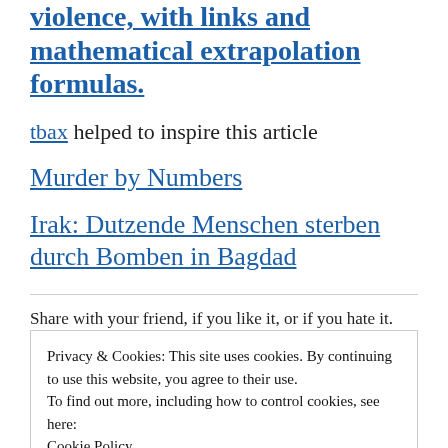violence, with links and mathematical extrapolation formulas.
tbax helped to inspire this article
Murder by Numbers
Irak: Dutzende Menschen sterben durch Bomben in Bagdad
Share with your friend, if you like it, or if you hate it.
Privacy & Cookies: This site uses cookies. By continuing to use this website, you agree to their use.
To find out more, including how to control cookies, see here:
Cookie Policy
A US Black is 7 times as likely to kill a White, than a White